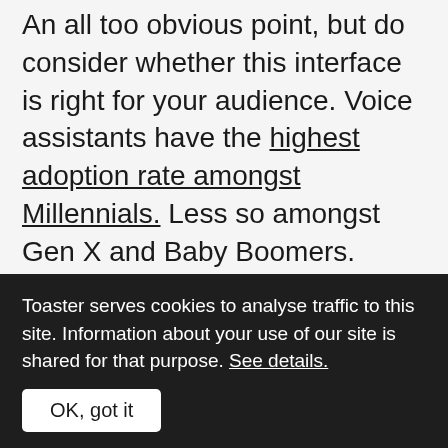An all too obvious point, but do consider whether this interface is right for your audience. Voice assistants have the highest adoption rate amongst Millennials. Less so amongst Gen X and Baby Boomers. Brands targeting non English speaking markets will struggle in the short term. Right now, Alexa only supports English and German. Google supports English, Hindi, and Brazilian Portuguese, with more languages later this
Toaster serves cookies to analyse traffic to this site. Information about your use of our site is shared for that purpose. See details.
OK, got it